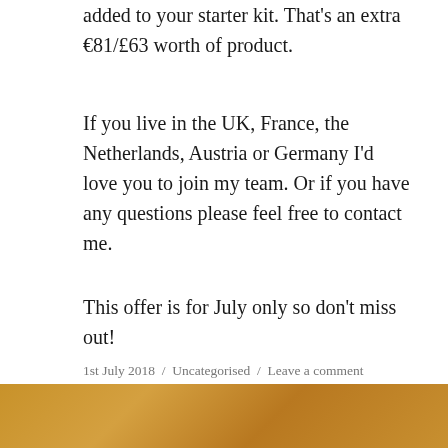added to your starter kit. That's an extra €81/£63 worth of product.
If you live in the UK, France, the Netherlands, Austria or Germany I'd love you to join my team. Or if you have any questions please feel free to contact me.
This offer is for July only so don't miss out!
1st July 2018 / Uncategorised / Leave a comment
Stampin' Up! Rooted in Nature card
[Figure (photo): Partial view of a decorative card with warm golden/brown tones, likely a nature-themed Stampin' Up card.]